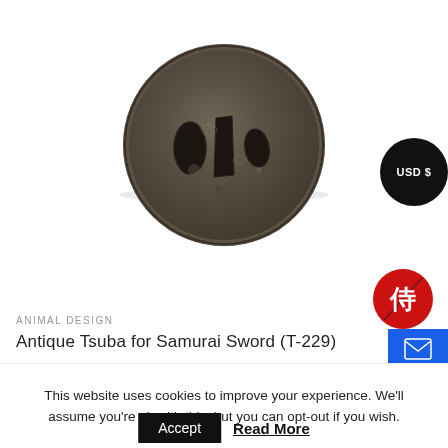[Figure (photo): Antique Japanese Tsuba (sword guard) - a circular iron piece with holes for blade and cross-guard, showing aged patina and decorative carving, photographed on white background]
[Figure (logo): USD $ badge - black circular badge with white text reading 'USD $']
[Figure (logo): Samurai store logo - red circular badge with Japanese kanji character in white]
ANIMAL DESIGN
Antique Tsuba for Samurai Sword (T-229)
This website uses cookies to improve your experience. We'll assume you're ok with this, but you can opt-out if you wish.
Accept
Read More